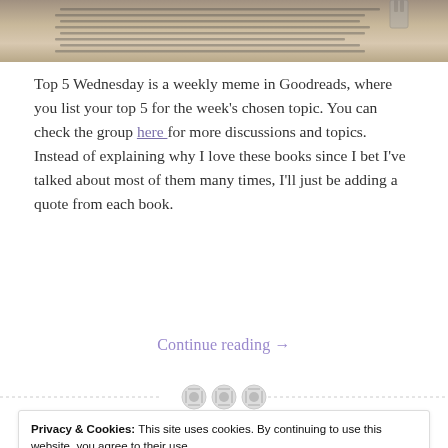[Figure (photo): Top portion of a photo showing an open book with handwritten or printed text, on a light wooden or paper surface.]
Top 5 Wednesday is a weekly meme in Goodreads, where you list your top 5 for the week's chosen topic. You can check the group here for more discussions and topics.  Instead of explaining why I love these books since I bet I've talked about most of them many times, I'll just be adding a quote from each book.
Continue reading →
Privacy & Cookies: This site uses cookies. By continuing to use this website, you agree to their use.
To find out more, including how to control cookies, see here: Cookie Policy
Close and accept
Read